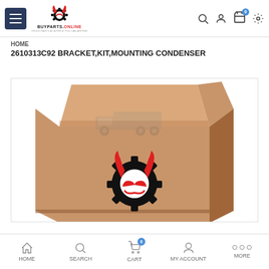BUYPARTS.ONLINE header with hamburger menu, logo, search, account, cart (0), and settings icons
HOME
2610313C92 BRACKET,KIT,MOUNTING CONDENSER
[Figure (photo): Product image: a cardboard box with the BuyParts.Online logo (red devil/gear emblem) printed on it, with a faint watermark of a truck on the upper portion.]
HOME  SEARCH  CART  MY ACCOUNT  MORE